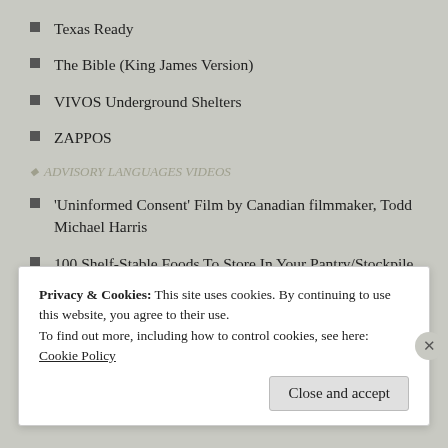Texas Ready
The Bible (King James Version)
VIVOS Underground Shelters
ZAPPOS
ADVISORY LANGUAGES VIDEOS
'Uninformed Consent' Film by Canadian filmmaker, Todd Michael Harris
100 Shelf-Stable Foods To Store In Your Pantry/Stockpile
21 Point Prepper's Checklist For Stocking Up at Walmart – M.D. Creekmore
34 Best Fixed Blade Knives in 2021
Privacy & Cookies: This site uses cookies. By continuing to use this website, you agree to their use.
To find out more, including how to control cookies, see here: Cookie Policy
Close and accept